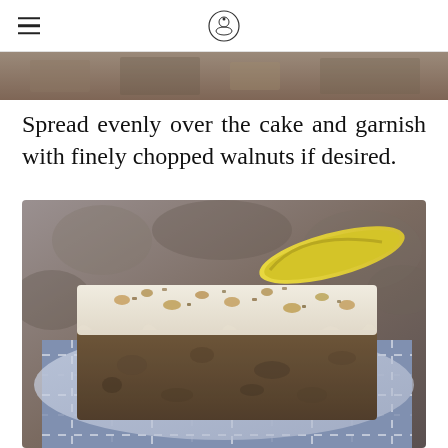[Figure (photo): Partial top of a food photo, showing what appears to be a baked good with nuts on a surface]
Spread evenly over the cake and garnish with finely chopped walnuts if desired.
[Figure (photo): A square slice of banana walnut cake with thick cream cheese frosting and chopped walnuts on top, served on a blue-checked cloth napkin with a banana visible in the background]